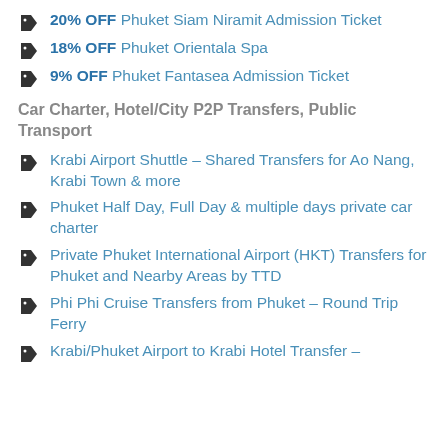20% OFF Phuket Siam Niramit Admission Ticket
18% OFF Phuket Orientala Spa
9% OFF Phuket Fantasea Admission Ticket
Car Charter, Hotel/City P2P Transfers, Public Transport
Krabi Airport Shuttle – Shared Transfers for Ao Nang, Krabi Town & more
Phuket Half Day, Full Day & multiple days private car charter
Private Phuket International Airport (HKT) Transfers for Phuket and Nearby Areas by TTD
Phi Phi Cruise Transfers from Phuket – Round Trip Ferry
Krabi/Phuket Airport to Krabi Hotel Transfer –